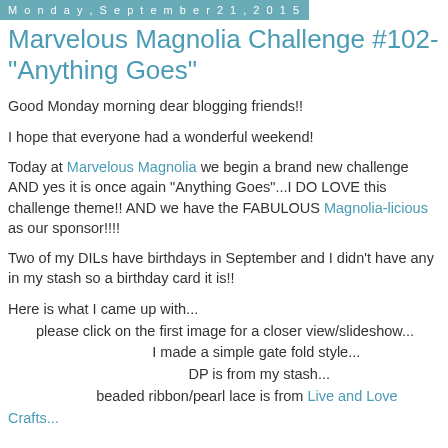Monday, September 21, 2015
Marvelous Magnolia Challenge #102- "Anything Goes"
Good Monday morning dear blogging friends!!
I hope that everyone had a wonderful weekend!
Today at Marvelous Magnolia we begin a brand new challenge AND yes it is once again "Anything Goes"...I DO LOVE this challenge theme!!  AND we have the FABULOUS Magnolia-licious as our sponsor!!!!
Two of my DILs have birthdays in September and I didn't have any in my stash so a birthday card it is!!
Here is what I came up with...
   please click on the first image for a closer view/slideshow...
         I made a simple gate fold style...
              DP is from my stash...
       beaded ribbon/pearl lace is from Live and Love Crafts...